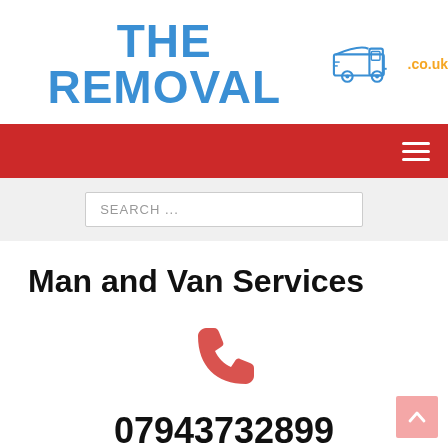[Figure (logo): The Removal van logo with blue text 'THE REMOVAL', inline van icon in blue, and '.co.uk' in orange]
[Figure (infographic): Red navigation bar with white hamburger menu icon on the right]
[Figure (screenshot): Light grey search bar area with a search input box containing placeholder text 'SEARCH ...']
Man and Van Services
[Figure (illustration): Large pink/red telephone handset icon centered on the page]
07943732899